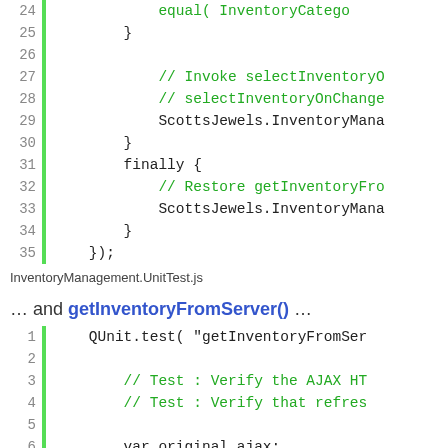[Figure (screenshot): Code snippet showing lines 24-35 of a JavaScript file with green comments and black code, with a green gutter bar on the left and grey line numbers]
InventoryManagement.UnitTest.js
… and getInventoryFromServer() …
[Figure (screenshot): Code snippet showing lines 1-7 of a JavaScript QUnit test file with green comments and black code, with a green gutter bar on the left and grey line numbers]